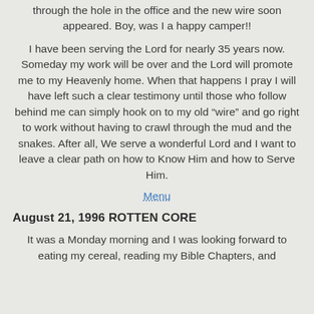through the hole in the office and the new wire soon appeared. Boy, was I a happy camper!!
I have been serving the Lord for nearly 35 years now. Someday my work will be over and the Lord will promote me to my Heavenly home. When that happens I pray I will have left such a clear testimony until those who follow behind me can simply hook on to my old “wire” and go right to work without having to crawl through the mud and the snakes. After all, We serve a wonderful Lord and I want to leave a clear path on how to Know Him and how to Serve Him.
Menu
August 21, 1996 ROTTEN CORE
It was a Monday morning and I was looking forward to eating my cereal, reading my Bible Chapters, and